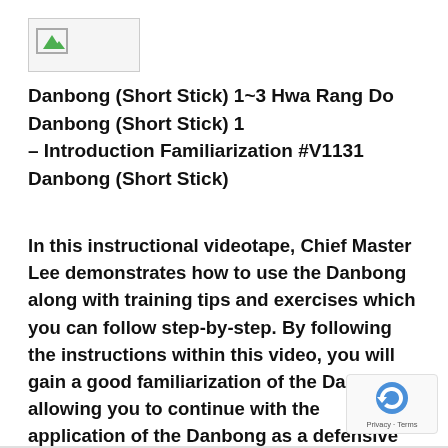[Figure (illustration): Broken image placeholder icon with green triangle]
Danbong (Short Stick) 1~3 Hwa Rang Do Danbong (Short Stick) 1 – Introduction Familiarization #V1131 Danbong (Short Stick)
In this instructional videotape, Chief Master Lee demonstrates how to use the Danbong along with training tips and exercises which you can follow step-by-step. By following the instructions within this video, you will gain a good familiarization of the Danbong, allowing you to continue with the application of the Danbong as a defensive tool against any form of violent attacks.Length: 5 minutes, Regular Price:$39.95